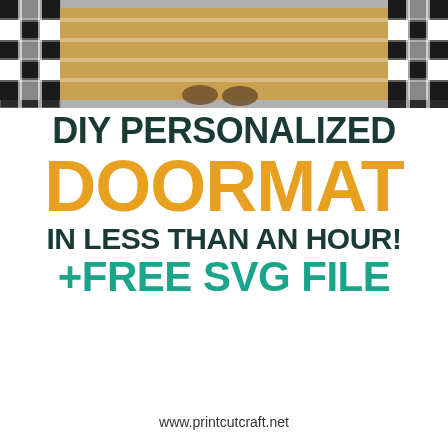[Figure (photo): Close-up photo of a doormat with black and white plaid/buffalo check border and golden/tan center, with someone's feet visible standing on it]
DIY PERSONALIZED DOORMAT IN LESS THAN AN HOUR! +FREE SVG FILE
www.printcutcraft.net